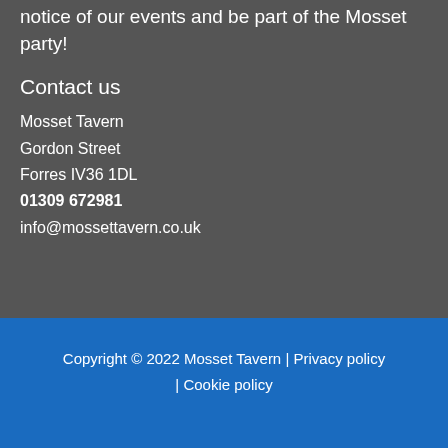notice of our events and be part of the Mosset party!
Contact us
Mosset Tavern
Gordon Street
Forres IV36 1DL
01309 672981
info@mossettavern.co.uk
Copyright © 2022 Mosset Tavern | Privacy policy | Cookie policy